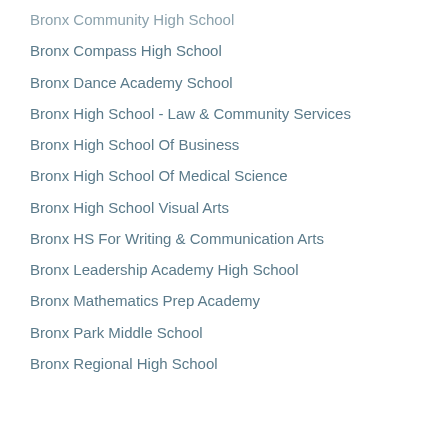Bronx Community High School
Bronx Compass High School
Bronx Dance Academy School
Bronx High School - Law & Community Services
Bronx High School Of Business
Bronx High School Of Medical Science
Bronx High School Visual Arts
Bronx HS For Writing & Communication Arts
Bronx Leadership Academy High School
Bronx Mathematics Prep Academy
Bronx Park Middle School
Bronx Regional High School